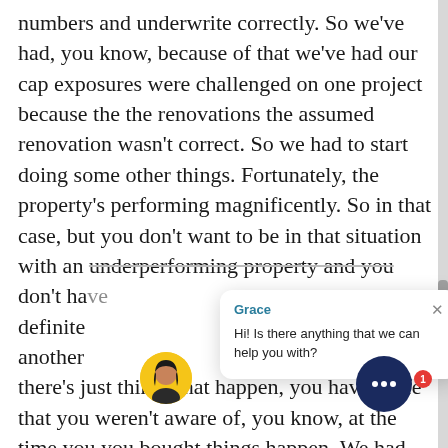numbers and underwrite correctly. So we've had, you know, because of that we've had our cap exposures were challenged on one project because the the renovations the assumed renovation wasn't correct. So we had to start doing some other things. Fortunately, the property's performing magnificently. So in that case, but you don't want to be in that situation with an underperforming property and you don't ha[ve enough reserves]... definitely... another [thing]... there's just things that happen, you have roofs that you weren't aware of, you know, at the time you you bought things happen. We had
[Figure (screenshot): Chat popup widget from 'Grace' saying 'Hi! Is there anything that we can help you with?' with an X close button, an avatar of a woman, and a dark blue chat button with three dots and a red badge showing '1']